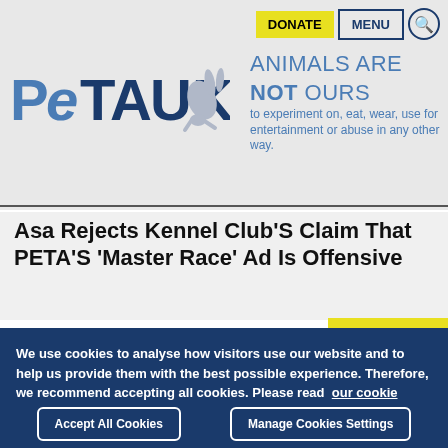[Figure (logo): PETA UK logo with running rabbit silhouette]
ANIMALS ARE NOT OURS to experiment on, eat, wear, use for entertainment or abuse in any other way.
DONATE  MENU  🔍
Asa Rejects Kennel Club'S Claim That PETA'S 'Master Race' Ad Is Offensive
We use cookies to analyse how visitors use our website and to help us provide them with the best possible experience. Therefore, we recommend accepting all cookies. Please read our cookie policy for more information and to understand how this may affect you..